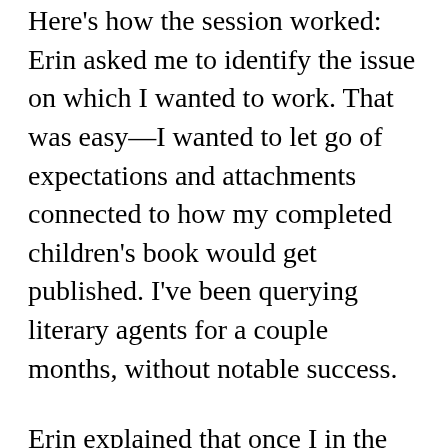Here's how the session worked: Erin asked me to identify the issue on which I wanted to work. That was easy—I wanted to let go of expectations and attachments connected to how my completed children's book would get published. I've been querying literary agents for a couple months, without notable success.
Erin explained that once I in the corral with the two horses, she had no expectations about